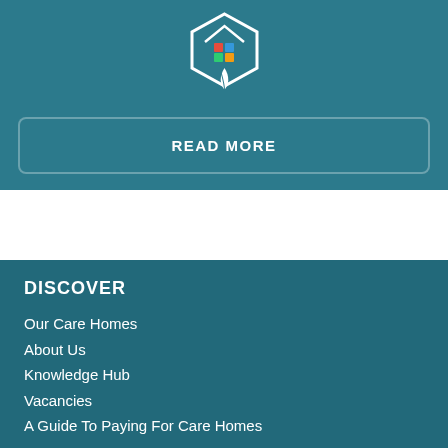[Figure (logo): Care home brand logo: a house outline with a colorful four-square grid and a leaf/plant motif, white on teal background]
READ MORE
DISCOVER
Our Care Homes
About Us
Knowledge Hub
Vacancies
A Guide To Paying For Care Homes